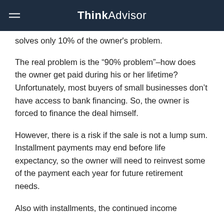ThinkAdvisor
solves only 10% of the owner's problem.
The real problem is the “90% problem”–how does the owner get paid during his or her lifetime? Unfortunately, most buyers of small businesses don’t have access to bank financing. So, the owner is forced to finance the deal himself.
However, there is a risk if the sale is not a lump sum. Installment payments may end before life expectancy, so the owner will need to reinvest some of the payment each year for future retirement needs.
Also with installments, the continued income